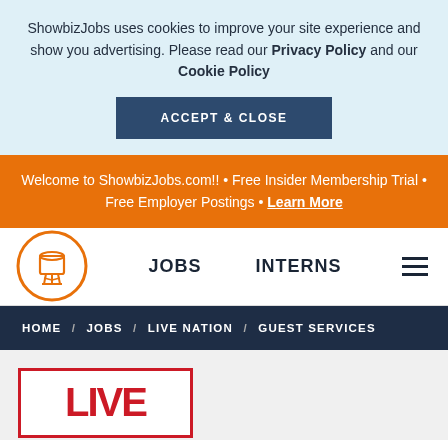ShowbizJobs uses cookies to improve your site experience and show you advertising. Please read our Privacy Policy and our Cookie Policy
ACCEPT & CLOSE
Welcome to ShowbizJobs.com!! • Free Insider Membership Trial • Free Employer Postings • Learn More
[Figure (logo): ShowbizJobs water tower logo in orange circle]
JOBS    INTERNS
HOME / JOBS / LIVE NATION / GUEST SERVICES
[Figure (logo): Live Nation logo - red border with LIVE text visible]